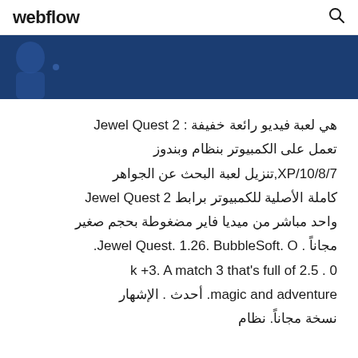webflow
[Figure (illustration): Dark blue banner with a partial illustration/figure on the left side]
Jewel Quest 2 : هي لعبة فيديو رائعة خفيفة تعمل على الكمبيوتر بنظام وبندوز XP/10/8/7,تنزيل لعبة البحث عن الجواهر كاملة الأصلية للكمبيوتر برابط Jewel Quest 2 واحد مباشر من ميديا فاير مضغوطة بحجم صغير مجاناً . Jewel Quest. 1.26. BubbleSoft. O. 0 . 2.5 k +3. A match 3 that's full of magic and adventure. أحدث . الإشهار نسخة مجاناً. نظام